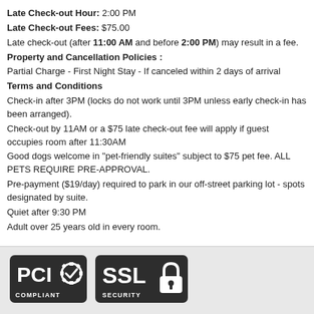Late Check-out Hour: 2:00 PM
Late Check-out Fees: $75.00
Late check-out (after 11:00 AM and before 2:00 PM) may result in a fee.
Property and Cancellation Policies :
Partial Charge - First Night Stay - If canceled within 2 days of arrival
Terms and Conditions
Check-in after 3PM (locks do not work until 3PM unless early check-in has been arranged).
Check-out by 11AM or a $75 late check-out fee will apply if guest occupies room after 11:30AM
Good dogs welcome in "pet-friendly suites" subject to $75 pet fee. ALL PETS REQUIRE PRE-APPROVAL.
Pre-payment ($19/day) required to park in our off-street parking lot - spots designated by suite.
Quiet after 9:30 PM
Adult over 25 years old in every room.
[Figure (logo): PCI Compliant badge and SSL Security badge on gray footer bar]